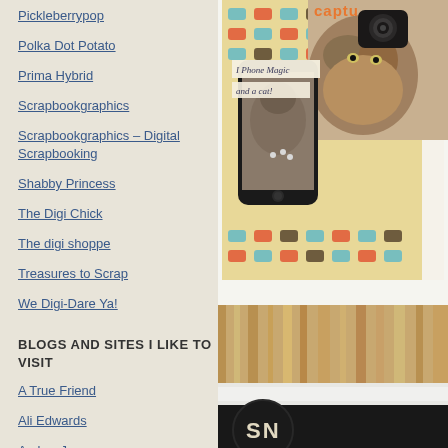Pickleberrypop
Polka Dot Potato
Prima Hybrid
Scrapbookgraphics
Scrapbookgraphics – Digital Scrapbooking
Shabby Princess
The Digi Chick
The digi shoppe
Treasures to Scrap
We Digi-Dare Ya!
BLOGS AND SITES I LIKE TO VISIT
A True Friend
Ali Edwards
Amber-Jane
Andrea
Anita - Inky Blossom
[Figure (photo): Scrapbook page with iPhone photo of a cat, camera patterned paper, and text 'I Phone Magic and a cat!']
[Figure (photo): Close-up of a textured carpet or rug with a black circular element showing partial letters 'SN']